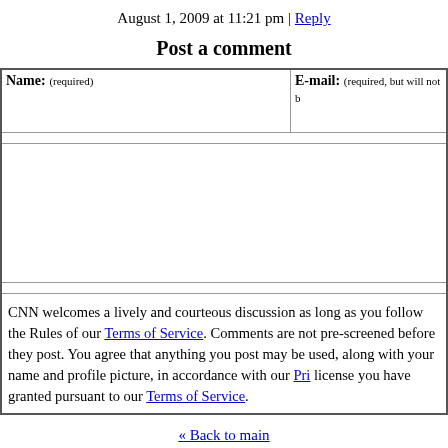August 1, 2009 at 11:21 pm | Reply
Post a comment
| Name: (required) | E-mail: (required, but will not be published) |
| --- | --- |
|  |  |
|  |  |
| comment area |  |
|  |  |
CNN welcomes a lively and courteous discussion as long as you follow the Rules of our Terms of Service. Comments are not pre-screened before they post. You agree that anything you post may be used, along with your name and profile picture, in accordance with our Privacy Policy and the license you have granted pursuant to our Terms of Service.
« Back to main
« previous post
next post »
About This Show